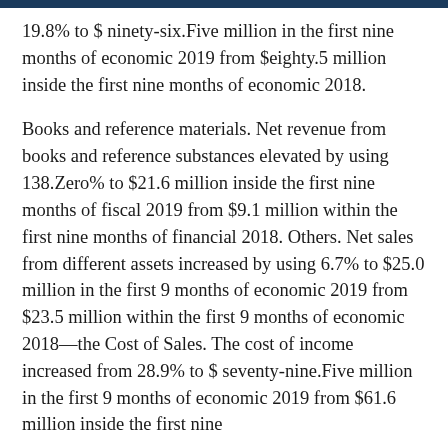19.8% to $ ninety-six.Five million in the first nine months of economic 2019 from $eighty.5 million inside the first nine months of economic 2018.
Books and reference materials. Net revenue from books and reference substances elevated by using 138.Zero% to $21.6 million inside the first nine months of fiscal 2019 from $9.1 million within the first nine months of financial 2018. Others. Net sales from different assets increased by using 6.7% to $25.0 million in the first 9 months of economic 2019 from $23.5 million within the first 9 months of economic 2018—the Cost of Sales. The cost of income increased from 28.9% to $ seventy-nine.Five million in the first 9 months of economic 2019 from $61.6 million inside the first nine